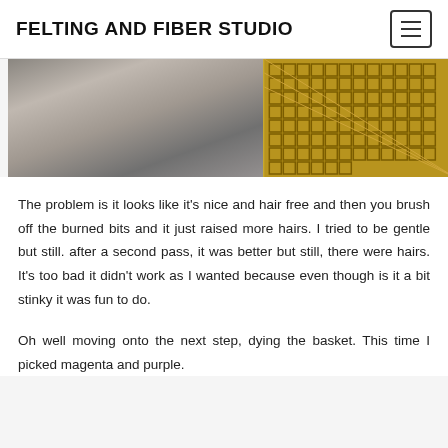FELTING AND FIBER STUDIO
[Figure (photo): Close-up photo showing two textures side by side: on the left, a gray fuzzy felted or wool material; on the right, a gold/yellow patterned woven or stamped fabric with a geometric maze-like motif.]
The problem is it looks like it's nice and hair free and then you brush off the burned bits and it just raised more hairs. I tried to be gentle but still. after a second pass, it was better but still, there were hairs. It's too bad it didn't work as I wanted because even though is it a bit stinky it was fun to do.
Oh well moving onto the next step, dying the basket. This time I picked magenta and purple.